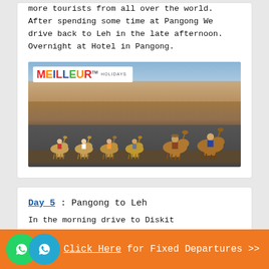more tourists from all over the world. After spending some time at Pangong We drive back to Leh in the late afternoon. Overnight at Hotel in Pangong.
[Figure (photo): Tourists riding Bactrian camels in a desert landscape with sandy mountains in the background, Nubra Valley / Ladakh. A Meilleur Holidays logo is overlaid in the top-left corner.]
Day 5 : Pangong to Leh
In the morning drive to Diskit (Headquarters of
Click Here for Fixed Departures >>